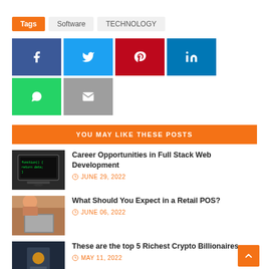Tags  Software  TECHNOLOGY
[Figure (infographic): Social sharing buttons: Facebook, Twitter, Pinterest, LinkedIn, WhatsApp, Email]
YOU MAY LIKE THESE POSTS
[Figure (photo): Laptop with code on screen]
Career Opportunities in Full Stack Web Development
JUNE 29, 2022
[Figure (photo): Woman using tablet in retail environment]
What Should You Expect in a Retail POS?
JUNE 06, 2022
[Figure (photo): Person in suit holding something]
These are the top 5 Richest Crypto Billionaires
MAY 11, 2022